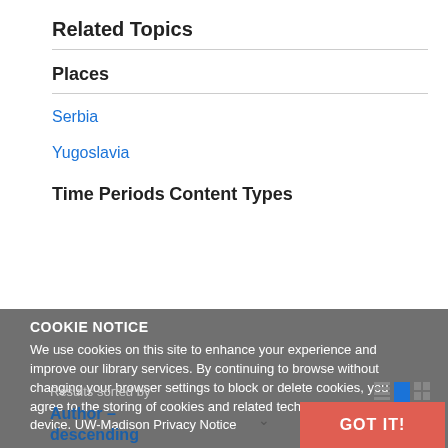Related Topics
Places
Serbia
Yugoslavia
Time Periods
Content Types
Results sorted by
Author – descending
COOKIE NOTICE
We use cookies on this site to enhance your experience and improve our library services. By continuing to browse without changing your browser settings to block or delete cookies, you agree to the storing of cookies and related technologies on your device. UW-Madison Privacy Notice
GOT IT!